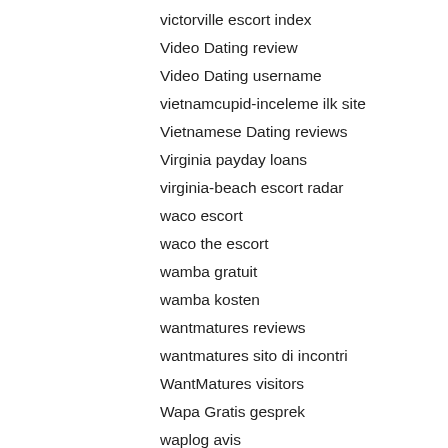victorville escort index
Video Dating review
Video Dating username
vietnamcupid-inceleme ilk site
Vietnamese Dating reviews
Virginia payday loans
virginia-beach escort radar
waco escort
waco the escort
wamba gratuit
wamba kosten
wantmatures reviews
wantmatures sito di incontri
WantMatures visitors
Wapa Gratis gesprek
waplog avis
waplog come funziona
waplog dating